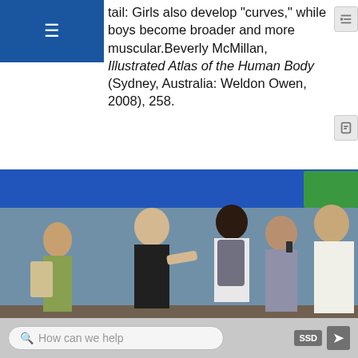tail: Girls also develop 'curves,' while boys become broader and more muscular.Beverly McMillan, Illustrated Atlas of the Human Body (Sydney, Australia: Weldon Owen, 2008), 258.
[Figure (photo): Group of teenagers walking outdoors in front of a blue awning. Girls and boys of various ages carrying backpacks, one boy talking on a cell phone.]
Figure 11.8.1: Puberty typically begins slightly earlier in girls than in boys. For girls, puberty often begins around age eleven, while for boys it begins around age twelve.